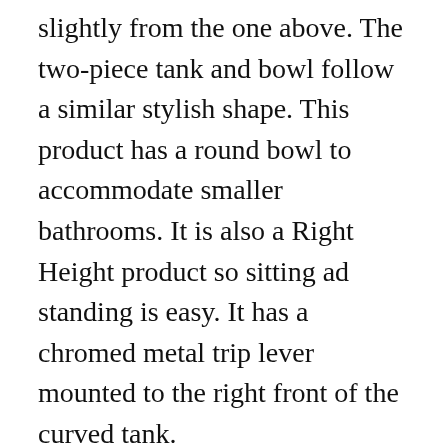slightly from the one above. The two-piece tank and bowl follow a similar stylish shape. This product has a round bowl to accommodate smaller bathrooms. It is also a Right Height product so sitting ad standing is easy. It has a chromed metal trip lever mounted to the right front of the curved tank.
The tank and bowl are molded from vitreous china and treated with the patented EverClean surface. This high gloss finish will help to restrict the growth of mildew, mould and